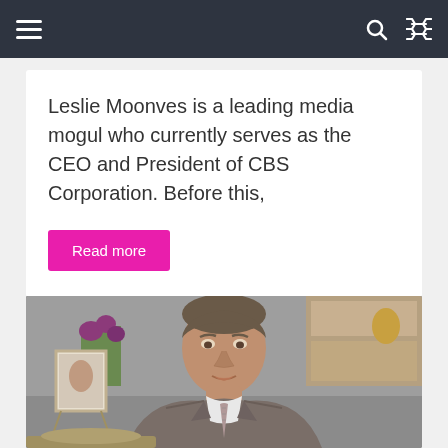Navigation bar with hamburger menu, search icon, and shuffle icon
Leslie Moonves is a leading media mogul who currently serves as the CEO and President of CBS Corporation. Before this,
Read more
[Figure (photo): A middle-aged man in a grey suit sitting in an interior setting with bookshelves, flowers, and framed photos in the background, appearing to speak or be interviewed.]